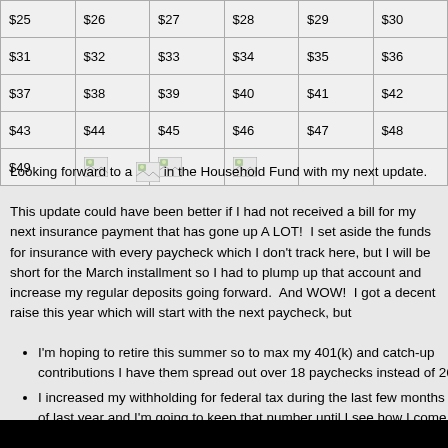| $25 | $26 | $27 | $28 | $29 | $30 |
| $31 | $32 | $33 | $34 | $35 | $36 |
| $37 | $38 | $39 | $40 | $41 | $42 |
| $43 | $44 | $45 | $46 | $47 | $48 |
| $49 | [image] | [image] | [image] |  |  |
Looking forward to a [image] in the Household Fund with my next update.
This update could have been better if I had not received a bill for my next insurance payment that has gone up A LOT!  I set aside the funds for insurance with every paycheck which I don't track here, but I will be short for the March installment so I had to plump up that account and increase my regular deposits going forward.  And WOW!  I got a decent raise this year which will start with the next paycheck, but
I'm hoping to retire this summer so to max my 401(k) and catch-up contributions I have them spread out over 18 paychecks instead of 26,
I increased my withholding for federal tax during the last few months of last year and I'm going to keep that number until I see how I come out for 2019 and estimate my 2020 tax situation if I do retire as expected, and